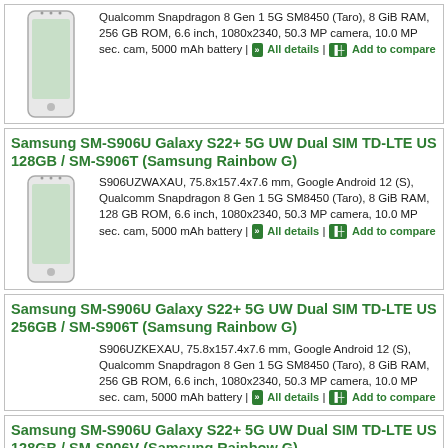Qualcomm Snapdragon 8 Gen 1 5G SM8450 (Taro), 8 GiB RAM, 256 GB ROM, 6.6 inch, 1080x2340, 50.3 MP camera, 10.0 MP sec. cam, 5000 mAh battery | All details | Add to compare
Samsung SM-S906U Galaxy S22+ 5G UW Dual SIM TD-LTE US 128GB / SM-S906T (Samsung Rainbow G)
S906UZWAXAU, 75.8x157.4x7.6 mm, Google Android 12 (S), Qualcomm Snapdragon 8 Gen 1 5G SM8450 (Taro), 8 GiB RAM, 128 GB ROM, 6.6 inch, 1080x2340, 50.3 MP camera, 10.0 MP sec. cam, 5000 mAh battery | All details | Add to compare
Samsung SM-S906U Galaxy S22+ 5G UW Dual SIM TD-LTE US 256GB / SM-S906T (Samsung Rainbow G)
S906UZKEXAU, 75.8x157.4x7.6 mm, Google Android 12 (S), Qualcomm Snapdragon 8 Gen 1 5G SM8450 (Taro), 8 GiB RAM, 256 GB ROM, 6.6 inch, 1080x2340, 50.3 MP camera, 10.0 MP sec. cam, 5000 mAh battery | All details | Add to compare
Samsung SM-S906U Galaxy S22+ 5G UW Dual SIM TD-LTE US 128GB / SM-S906V (Samsung Rainbow G)
S906UZKAVZW, 75.8x157.4x7.6 mm, Google Android 12 (S), Qualcomm Snapdragon 8 Gen 1 5G SM8450 (Taro), 8 GiB RAM, 128 GB ROM, 6.6 inch, 1080x2340, 50.3 MP camera, 10.0 MP sec. cam, 5000 mAh battery | All details | Add to compare